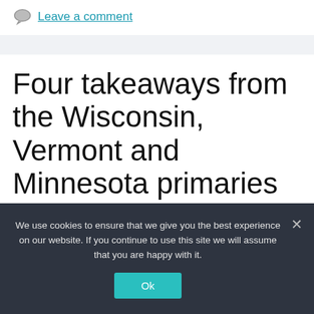Leave a comment
Four takeaways from the Wisconsin, Vermont and Minnesota primaries
We use cookies to ensure that we give you the best experience on our website. If you continue to use this site we will assume that you are happy with it.